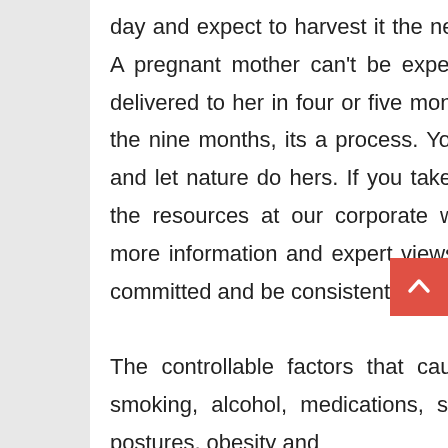day and expect to harvest it the next day, its a process. A pregnant mother can't be expecting her child to be delivered to her in four or five months; she have to wait the nine months, its a process. You got to do your part and let nature do hers. If you take the time to study all the resources at our corporate website, you will find more information and expert views on tropicleanse. Be committed and be consistent; your time will come.

The controllable factors that cause us to snore are smoking, alcohol, medications, sleeping position and postures, obesity and